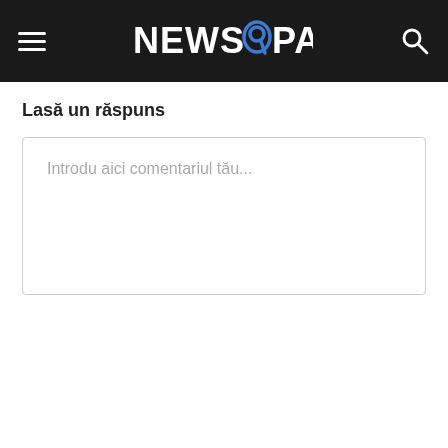NEWS9PAPER
Lasă un răspuns
Introdu aici comentariul tău...